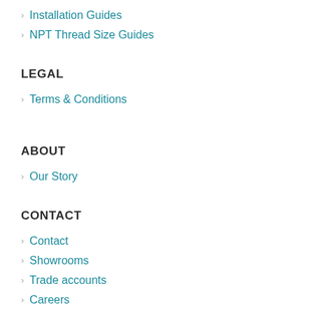Installation Guides
NPT Thread Size Guides
LEGAL
Terms & Conditions
ABOUT
Our Story
CONTACT
Contact
Showrooms
Trade accounts
Careers